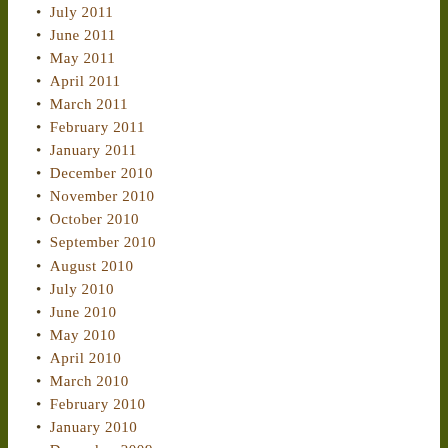July 2011
June 2011
May 2011
April 2011
March 2011
February 2011
January 2011
December 2010
November 2010
October 2010
September 2010
August 2010
July 2010
June 2010
May 2010
April 2010
March 2010
February 2010
January 2010
December 2009
November 2009
October 2009
September 2009
August 2009
July 2009